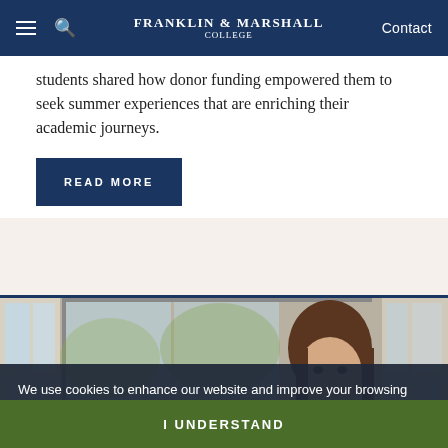Franklin & Marshall College | Contact
students shared how donor funding empowered them to seek summer experiences that are enriching their academic journeys.
READ MORE
[Figure (photo): A young woman with brown hair standing in front of a building with glass doors; a 'Blue Line' sign is partially visible in the background]
We use cookies to enhance our website and improve your browsing experience. To accept cookies click the “I Understand” button, or view our privacy page for more information.
I UNDERSTAND